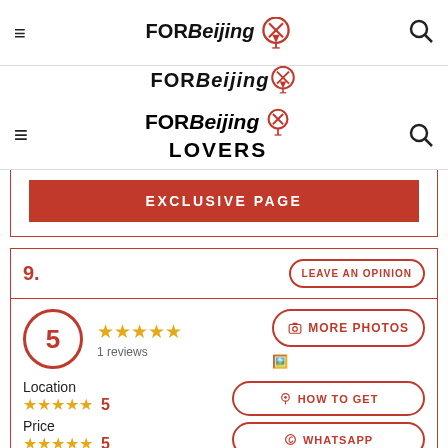FOR Beijing LOVERS
EXCLUSIVE PAGE
9.
LEAVE AN OPINION
5
1 reviews
MORE PHOTOS
Location
★★★★★ 5
HOW TO GET
Price
★★★★★ 5
WHATSAPP
Classes
★★★★★ 5
WEB PAGE
Facilities